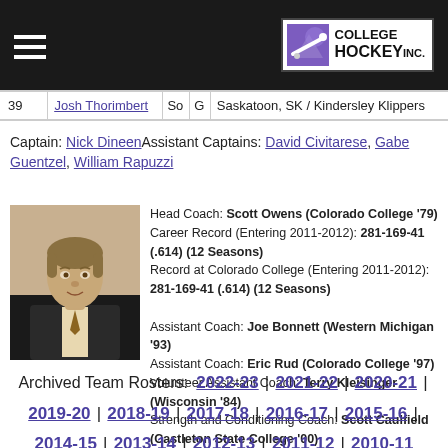College Hockey Inc.
| # | Name | Yr | Pos | Hometown/Last Team |
| --- | --- | --- | --- | --- |
| 39 | Josh Thorimbert | So | G | Saskatoon, SK / Kindersley Klippers |
Captain: Nick Dineen Assistant Captains: David Civitarese, Gabe Guentzel, William Rapuzzi
[Figure (photo): Photo of Head Coach Scott Owens]
Head Coach: Scott Owens (Colorado College '79)
Career Record (Entering 2011-2012): 281-169-41 (.614) (12 Seasons)
Record at Colorado College (Entering 2011-2012): 281-169-41 (.614) (12 Seasons)
Assistant Coach: Joe Bonnett (Western Michigan '93)
Assistant Coach: Eric Rud (Colorado College '97)
Volunteer Assistant Coach: Terry Kleisinger (Wisconsin '84)
Strength and Conditioning Coach: Scott Caulfield (Castleton State College '00)
Archived Team Rosters: 2022-23 | 2021-22 | 2020-21 | 2019-20 | 2018-19 | 2017-18 | 2016-17 | 2015-16 | 2014-15 | 2013-14 | 2012-13 | 2011-12 | 2010-11